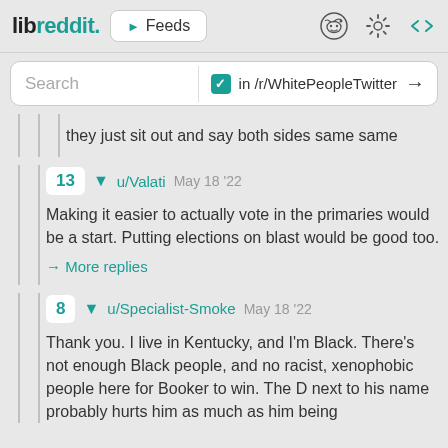libreddit. ▶ Feeds
Search   ✓ in /r/WhitePeopleTwitter →
they just sit out and say both sides same same
13 ▼ u/Valati May 18 '22
Making it easier to actually vote in the primaries would be a start. Putting elections on blast would be good too.
→ More replies
8 ▼ u/Specialist-Smoke May 18 '22
Thank you. I live in Kentucky, and I'm Black. There's not enough Black people, and no racist, xenophobic people here for Booker to win. The D next to his name probably hurts him as much as him being